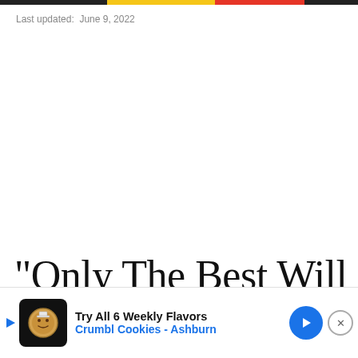Last updated:  June 9, 2022
“Only The Best Will Do”
[Figure (screenshot): Advertisement banner for Crumbl Cookies - Ashburn: Try All 6 Weekly Flavors, with cookie mascot logo icon, blue navigation arrow, and close button (X)]
Trium... or the